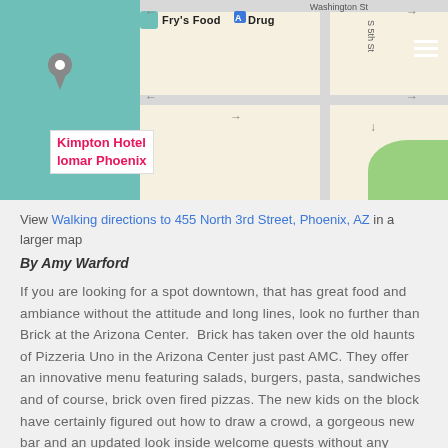[Figure (map): Google Maps screenshot showing the area around 455 North 3rd Street, Phoenix, AZ. Shows Fry's Food and Drug store, Kimpton Hotel Palomar Phoenix pin, Washington St, S 5th St labels, and a green area in the lower right corner.]
View Walking directions to 455 North 3rd Street, Phoenix, AZ in a larger map
By Amy Warford
If you are looking for a spot downtown, that has great food and ambiance without the attitude and long lines, look no further than Brick at the Arizona Center. Brick has taken over the old haunts of Pizzeria Uno in the Arizona Center just past AMC. They offer an innovative menu featuring salads, burgers, pasta, sandwiches and of course, brick oven fired pizzas. The new kids on the block have certainly figured out how to draw a crowd, a gorgeous new bar and an updated look inside welcome guests without any pretention. The patio's sleek look flows well and can completely open up into the dining room on our beautiful fall nights that are just around the corner. This new urban kitchen definitely has the right stuff.